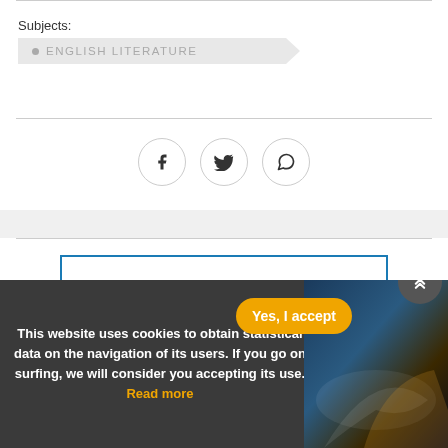Subjects:
ENGLISH LITERATURE
[Figure (other): Social share icons: Facebook, Twitter, WhatsApp]
Articles By The Same Author
This website uses cookies to obtain statistical data on the navigation of its users. If you go on surfing, we will consider you accepting its use. Read more
Yes, I accept